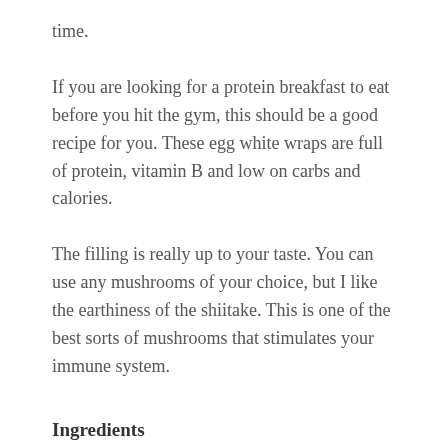time.
If you are looking for a protein breakfast to eat before you hit the gym, this should be a good recipe for you. These egg white wraps are full of protein, vitamin B and low on carbs and calories.
The filling is really up to your taste. You can use any mushrooms of your choice, but I like the earthiness of the shiitake. This is one of the best sorts of mushrooms that stimulates your immune system.
Ingredients